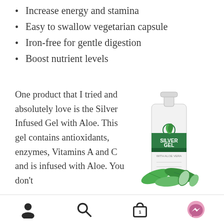Increase energy and stamina
Easy to swallow vegetarian capsule
Iron-free for gentle digestion
Boost nutrient levels
One product that I tried and absolutely love is the Silver Infused Gel with Aloe. This gel contains antioxidants, enzymes, Vitamins A and C and is infused with Aloe. You don't
[Figure (photo): Silver Gel product bottle with pump dispenser, green label reading SILVER GEL, surrounded by fresh aloe vera leaves]
User icon | Search icon | Cart icon | Messenger button